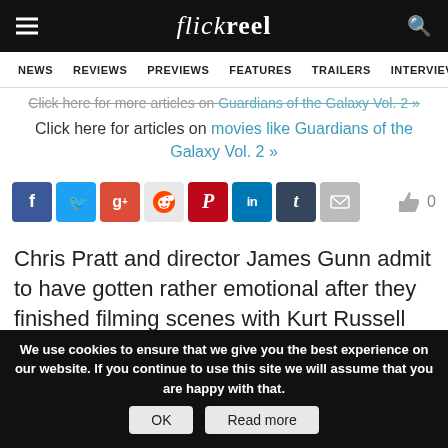flickreel — NEWS  REVIEWS  PREVIEWS  FEATURES  TRAILERS  INTERVIEWS
Click here for more articles on Guardians of the Galaxy Vol. 2 »
Click here for articles on movies like Guardians of the Galaxy Vol. 2 »
[Figure (infographic): Social sharing icons row: Facebook, Twitter, Google+, Reddit, Pinterest, LinkedIn, Tumblr, Email. Like button with count 0.]
Chris Pratt and director James Gunn admit to have gotten rather emotional after they finished filming scenes with Kurt Russell for Guardians Of The Galaxy Vol. 2.
We use cookies to ensure that we give you the best experience on our website. If you continue to use this site we will assume that you are happy with that.